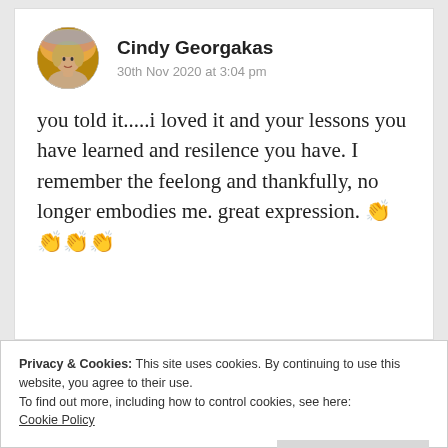[Figure (photo): Circular avatar photo of a woman, Cindy Georgakas, outdoors with warm sunset lighting]
Cindy Georgakas
30th Nov 2020 at 3:04 pm
you told it.....i loved it and your lessons you have learned and resilence you have. I remember the feelong and thankfully, no longer embodies me. great expression. 👏👏👏👏
Privacy & Cookies: This site uses cookies. By continuing to use this website, you agree to their use.
To find out more, including how to control cookies, see here:
Cookie Policy
Close and accept